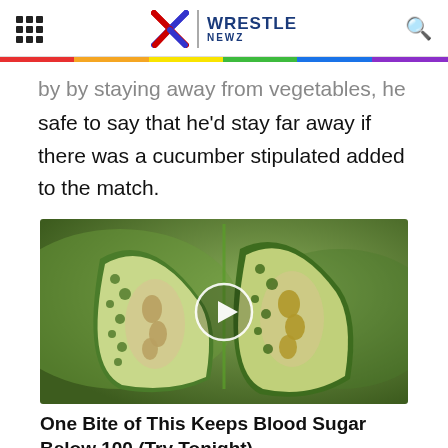Wrestle Newz
safe to say that he'd stay far away if there was a cucumber stipulated added to the match.
[Figure (photo): A bitter melon / bitter gourd cut open showing seeds and green textured exterior, with a video play button overlay]
One Bite of This Keeps Blood Sugar Below 100 (Try Tonight)